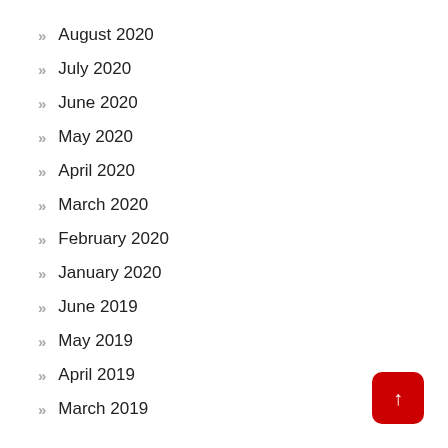August 2020
July 2020
June 2020
May 2020
April 2020
March 2020
February 2020
January 2020
June 2019
May 2019
April 2019
March 2019